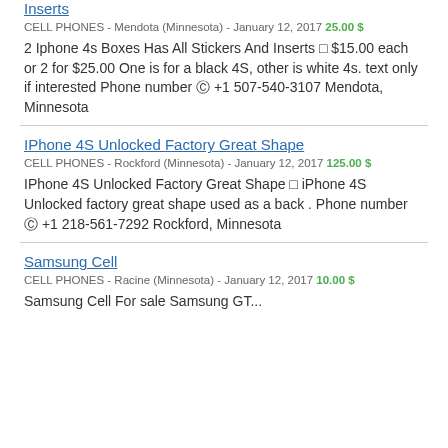Inserts
CELL PHONES - Mendota (Minnesota) - January 12, 2017 25.00 $
2 Iphone 4s Boxes Has All Stickers And Inserts ◻ $15.00 each or 2 for $25.00 One is for a black 4S, other is white 4s. text only if interested Phone number ℂ +1 507-540-3107 Mendota, Minnesota
IPhone 4S Unlocked Factory Great Shape
CELL PHONES - Rockford (Minnesota) - January 12, 2017 125.00 $
IPhone 4S Unlocked Factory Great Shape ◻ iPhone 4S Unlocked factory great shape used as a back . Phone number ℂ +1 218-561-7292 Rockford, Minnesota
Samsung Cell
CELL PHONES - Racine (Minnesota) - January 12, 2017 10.00 $
Samsung Cell For sale Samsung GT...